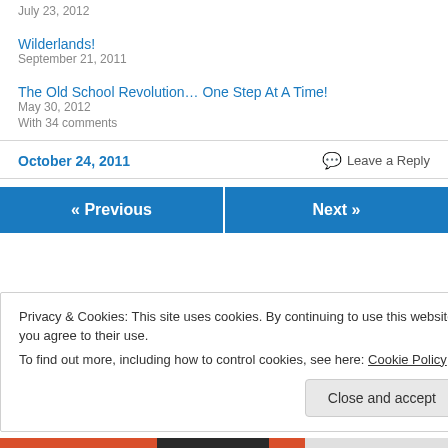July 23, 2012
Wilderlands!
September 21, 2011
The Old School Revolution… One Step At A Time!
May 30, 2012
With 34 comments
October 24, 2011
Leave a Reply
« Previous
Next »
Privacy & Cookies: This site uses cookies. By continuing to use this website, you agree to their use.
To find out more, including how to control cookies, see here: Cookie Policy
Close and accept